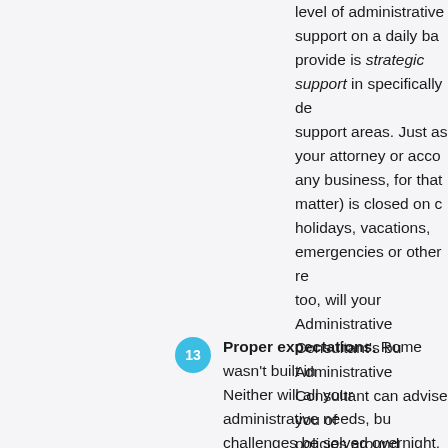level of administrative support on a daily basis. What we provide is strategic support in specifically defined support areas. Just as your attorney or accountant (or any business, for that matter) is closed on certain holidays, vacations, emergencies or other reasons, so too, will your Administrative Consultant's business. Your Administrative Consultant can advise you of their policies around notification so that you can plan accordingly. Your business should still be able to run without support during these times. If you are so dependent upon support that you are unable to take care of things yourself during these intermissions, or if your entire business comes to a screeching halt when it does, what you really need is an employee, not an Administrative Consultant.
Proper expectations. Rome wasn't built in a day. Neither will all your administrative needs, burdens and challenges be solved overnight. It's important to remember that this will be a process. The lo